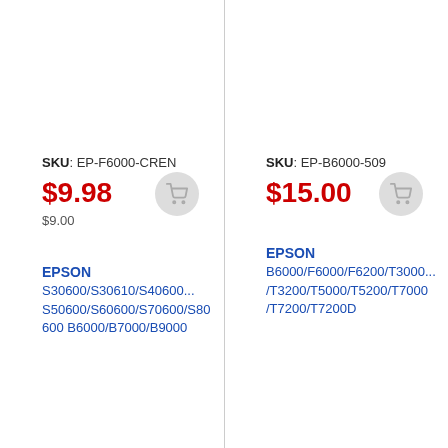SKU: EP-F6000-CREN
$9.98
$9.00
EPSON S30600/S30610/S40600... S50600/S60600/S70600/S80600 B6000/B7000/B9000
SKU: EP-B6000-509
$15.00
EPSON B6000/F6000/F6200/T3000.../T3200/T5000/T5200/T7000/T7200/T7200D